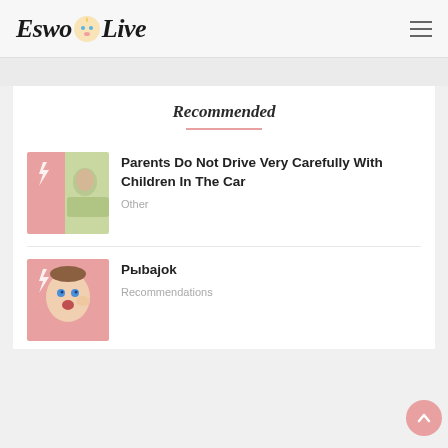EswoLive
Recommended
Parents Do Not Drive Very Carefully With Children In The Car
Other
Рыbajok
Recommendations